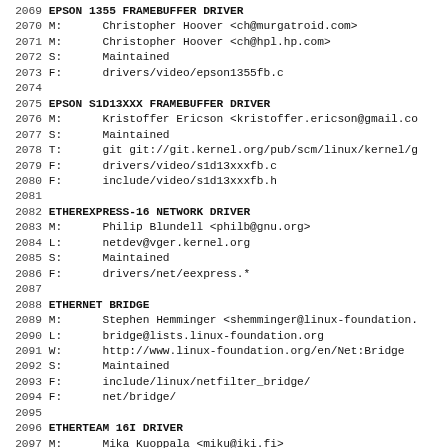2069 EPSON 1355 FRAMEBUFFER DRIVER
2070 M:      Christopher Hoover <ch@murgatroid.com>
2071 M:      Christopher Hoover <ch@hpl.hp.com>
2072 S:      Maintained
2073 F:      drivers/video/epson1355fb.c
2074
2075 EPSON S1D13XXX FRAMEBUFFER DRIVER
2076 M:      Kristoffer Ericson <kristoffer.ericson@gmail.co
2077 S:      Maintained
2078 T:      git git://git.kernel.org/pub/scm/linux/kernel/g
2079 F:      drivers/video/s1d13xxxfb.c
2080 F:      include/video/s1d13xxxfb.h
2081
2082 ETHEREXPRESS-16 NETWORK DRIVER
2083 M:      Philip Blundell <philb@gnu.org>
2084 L:      netdev@vger.kernel.org
2085 S:      Maintained
2086 F:      drivers/net/eexpress.*
2087
2088 ETHERNET BRIDGE
2089 M:      Stephen Hemminger <shemminger@linux-foundation.
2090 L:      bridge@lists.linux-foundation.org
2091 W:      http://www.linux-foundation.org/en/Net:Bridge
2092 S:      Maintained
2093 F:      include/linux/netfilter_bridge/
2094 F:      net/bridge/
2095
2096 ETHERTEAM 16I DRIVER
2097 M:      Mika Kuoppala <miku@iki.fi>
2098 S:      Maintained
2099 F:      drivers/net/eth16i.c
2100
2101 EXT3 FILE SYSTEM